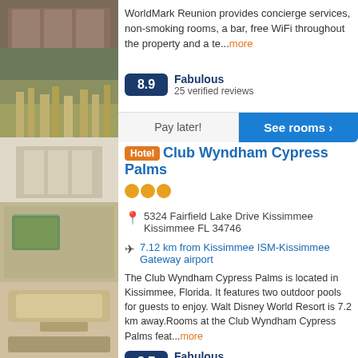[Figure (photo): Exterior photo of a resort building with balconies and grass/reeds in foreground]
WorldMark Reunion provides concierge services, non-smoking rooms, a bar, free WiFi throughout the property and a te...more
8.9 Fabulous
25 verified reviews
Pay later!
See rooms ›
[Figure (photo): Interior photo of a hotel suite with sofa, coffee table and wall painting]
Club Wyndham Cypress Palms
5324 Fairfield Lake Drive Kissimmee Kissimmee FL 34746
7.12 km from Kissimmee ISM-Kissimmee Gateway airport
The Club Wyndham Cypress Palms is located in Kissimmee, Florida. It features two outdoor pools for guests to enjoy. Walt Disney World Resort is 7.2 km away.Rooms at the Club Wyndham Cypress Palms feat...more
8.7 Fabulous
163 verified reviews